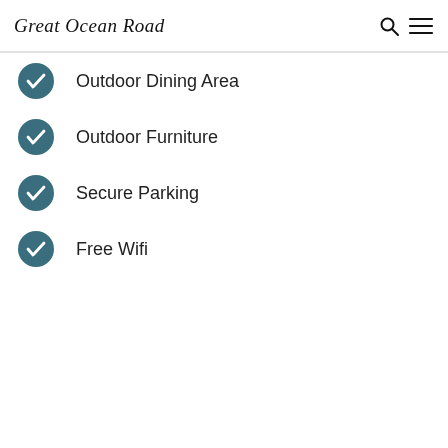Great Ocean Road
Outdoor Dining Area
Outdoor Furniture
Secure Parking
Free Wifi